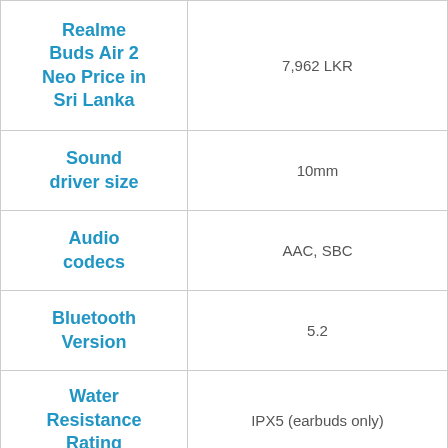| Feature | Value |
| --- | --- |
| Realme Buds Air 2 Neo Price in Sri Lanka | 7,962 LKR |
| Sound driver size | 10mm |
| Audio codecs | AAC, SBC |
| Bluetooth Version | 5.2 |
| Water Resistance Rating | IPX5 (earbuds only) |
|  | With charging case: 2 hours for a |